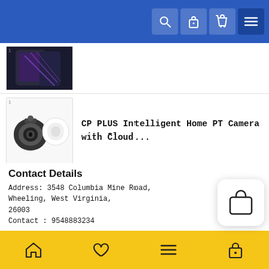Navigation bar with search, lock, bag, and menu icons
[Figure (screenshot): Product thumbnail - dark smartphone (partially visible, first item cut off)]
CP PLUS Intelligent Home PT Camera with Cloud...
[Figure (photo): CP PLUS home security camera product thumbnail]
Samsung Galaxy S22 Ultra -Price , Features
₹94,990.00
[Figure (photo): Samsung Galaxy S22 Ultra product thumbnail]
OnePlus 10 Pro - Price , Features
[Figure (photo): OnePlus 10 Pro product thumbnail]
Contact Details
Address: 3548 Columbia Mine Road, Wheeling, West Virginia, 26003
Contact : 9548883234
Bottom navigation bar with home, heart, menu, and lock icons